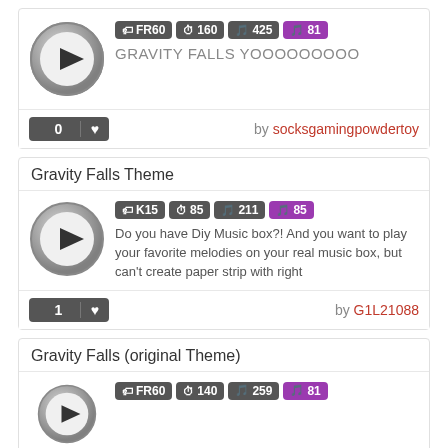[Figure (illustration): Play button circle icon for first card]
FR60  160  425  81
GRAVITY FALLS YOOOOOOOOO
0 ♥ by socksgamingpowdertoy
Gravity Falls Theme
[Figure (illustration): Play button circle icon for second card]
K15  85  211  85
Do you have Diy Music box?! And you want to play your favorite melodies on your real music box, but can't create paper strip with right
1 ♥ by G1L21088
Gravity Falls (original Theme)
[Figure (illustration): Play button circle icon for third card (partially visible)]
FR60  140  259  81